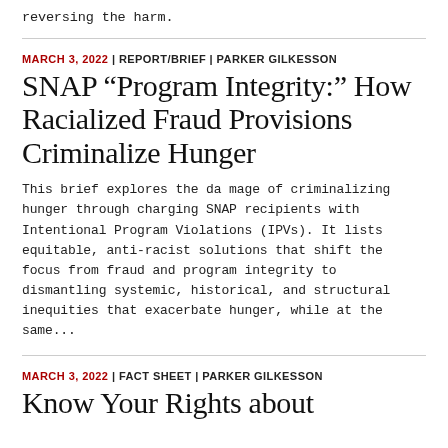reversing the harm.
MARCH 3, 2022 | REPORT/BRIEF | PARKER GILKESSON
SNAP “Program Integrity:” How Racialized Fraud Provisions Criminalize Hunger
This brief explores the damage of criminalizing hunger through charging SNAP recipients with Intentional Program Violations (IPVs). It lists equitable, anti-racist solutions that shift the focus from fraud and program integrity to dismantling systemic, historical, and structural inequities that exacerbate hunger, while at the same…
MARCH 3, 2022 | FACT SHEET | PARKER GILKESSON
Know Your Rights about